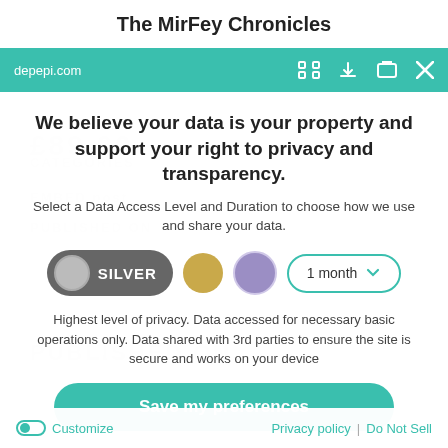The MirFey Chronicles
depepi.com
We believe your data is your property and support your right to privacy and transparency.
Select a Data Access Level and Duration to choose how we use and share your data.
[Figure (infographic): Privacy level selector with SILVER toggle selected (dark gray pill with gray circle and SILVER label), gold circle option, purple circle option, and a dropdown showing '1 month' with a teal chevron arrow]
Highest level of privacy. Data accessed for necessary basic operations only. Data shared with 3rd parties to ensure the site is secure and works on your device
Save my preferences
Customize   Privacy policy  |  Do Not Sell